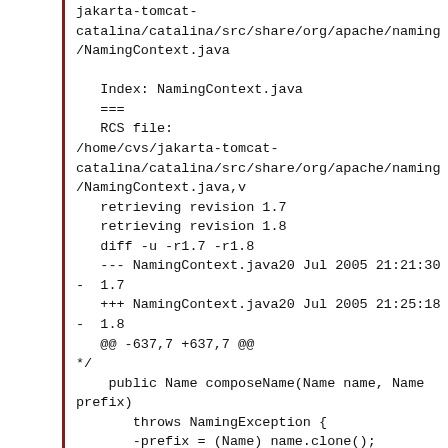jakarta-tomcat-catalina/catalina/src/share/org/apache/naming/NamingContext.java

   Index: NamingContext.java
   ===
   RCS file:
/home/cvs/jakarta-tomcat-catalina/catalina/src/share/org/apache/naming/NamingContext.java,v
   retrieving revision 1.7
   retrieving revision 1.8
   diff -u -r1.7 -r1.8
   --- NamingContext.java20 Jul 2005 21:21:30 -  1.7
   +++ NamingContext.java20 Jul 2005 21:25:18 -  1.8
   @@ -637,7 +637,7 @@
*/
    public Name composeName(Name name, Name prefix)
       throws NamingException {
       -prefix = (Name) name.clone();
       +prefix = (Name) prefix.clone();